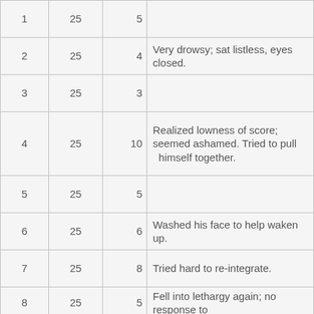|  |  |  |  |
| --- | --- | --- | --- |
| 1 | 25 | 5 |  |
| 2 | 25 | 4 | Very drowsy; sat listless, eyes closed. |
| 3 | 25 | 3 |  |
| 4 | 25 | 10 | Realized lowness of score; seemed ashamed. Tried to pull himself together. |
| 5 | 25 | 5 |  |
| 6 | 25 | 6 | Washed his face to help waken up. |
| 7 | 25 | 8 | Tried hard to re-integrate. |
| 8 | 25 | 5 | Fell into lethargy again; no response to |